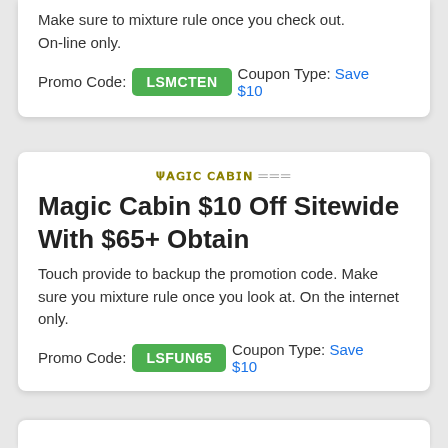Make sure to mixture rule once you check out. On-line only.
Promo Code: LSMCTEN  Coupon Type: Save $10
[Figure (logo): Magic Cabin text logo]
Magic Cabin $10 Off Sitewide With $65+ Obtain
Touch provide to backup the promotion code. Make sure you mixture rule once you look at. On the internet only.
Promo Code: LSFUN65  Coupon Type: Save $10